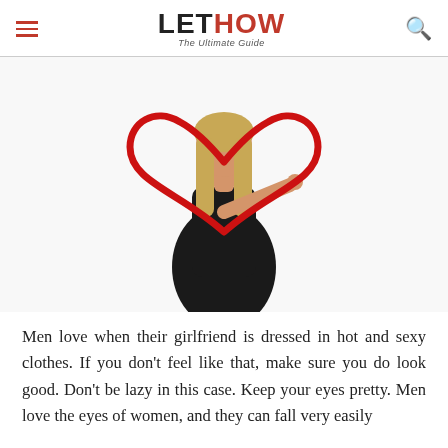LETHOW The Ultimate Guide
[Figure (photo): Woman in a black dress with long blonde hair, pointing forward, with a large red hand-drawn heart shape overlaid on the image. White background.]
Men love when their girlfriend is dressed in hot and sexy clothes. If you don't feel like that, make sure you do look good. Don't be lazy in this case. Keep your eyes pretty. Men love the eyes of women, and they can fall very easily